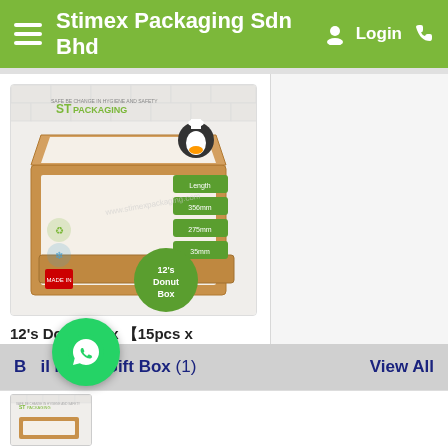Stimex Packaging Sdn Bhd
[Figure (photo): Product photo of 12's Donut Box - kraft paper flat box with ST Packaging logo, penguin mascot, dimension labels, and green circle badge reading 12's Donut Box]
12's Donut Box 【15pcs x RM3.50/pc】
RM 52.50
Add to Cart
B... Moon Gift Box (1)
View All
[Figure (photo): Partial product image at bottom of page below Moon Gift Box section]
[Figure (logo): WhatsApp floating button icon]